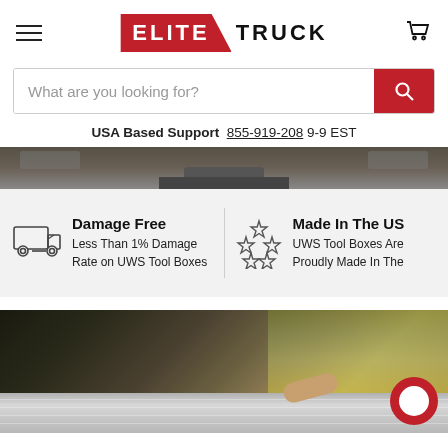[Figure (logo): Elite Truck logo — ELITE in white on red trapezoid background, TRUCK in black bold text]
What are you looking for?
USA Based Support  855-919-208  9-9 EST
[Figure (photo): Close-up of rear of a dark truck/vehicle showing trailer hitch]
[Figure (illustration): Truck delivery icon with Damage Free text: Less Than 1% Damage Rate on UWS Tool Boxes]
[Figure (illustration): Five stars icon with Made In The US text: UWS Tool Boxes Are Proudly Made In The...]
[Figure (photo): Person reaching into truck bed with diamond-plate aluminum tool box, background shows wooden structure and trees]